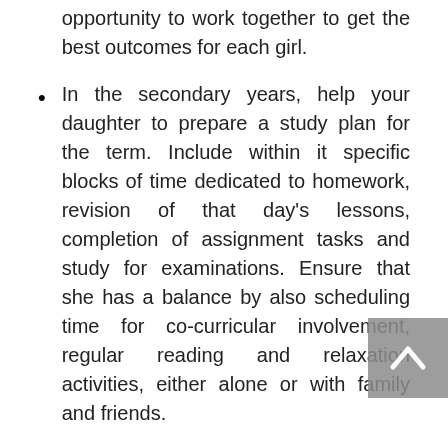opportunity to work together to get the best outcomes for each girl.
In the secondary years, help your daughter to prepare a study plan for the term. Include within it specific blocks of time dedicated to homework, revision of that day’s lessons, completion of assignment tasks and study for examinations. Ensure that she has a balance by also scheduling time for co-curricular involvement, regular reading and relaxation activities, either alone or with family and friends.
Attend next week’s primary information session if your daughter is in Prep to Year 6. An